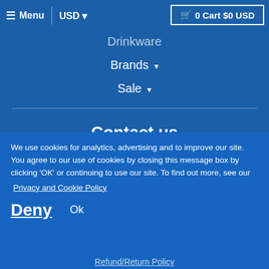☰ Menu | USD ▾  🛒 0 Cart $0 USD
Drinkware
Brands ▾
Sale ▾
Contact us
1.855-500-8337 • support@christiantshirts.com
Support
We use cookies for analytics, advertising and to improve our site. You agree to our use of cookies by closing this message box by clicking 'OK' or continuing to use our site. To find out more, see our
Privacy and Cookie Policy
Deny  Ok
Refund/Return Policy